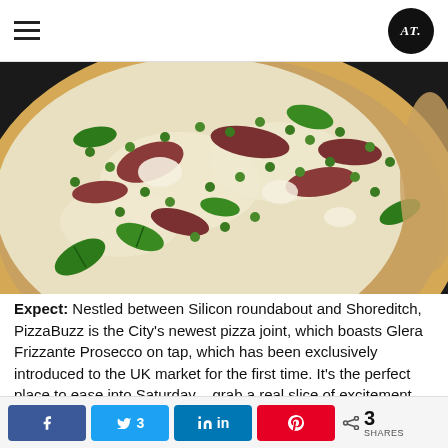AT logo and hamburger menu
[Figure (photo): Close-up photo of a pizza topped with green peas, prosciutto/bacon, mozzarella, and fresh mint leaves on a thin crust]
Expect: Nestled between Silicon roundabout and Shoreditch, PizzaBuzz is the City's newest pizza joint, which boasts Glera Frizzante Prosecco on tap, which has been exclusively introduced to the UK market for the first time. It's the perfect place to ease into Saturday – grab a real slice of excitement with a boozy bottomless bubble-filled brunch at PizzaBuzz. Every weekend throughout September 11am until 3pm, enjoy a two
Facebook share, Twitter 3, LinkedIn share, Pinterest share, < 3 SHARES